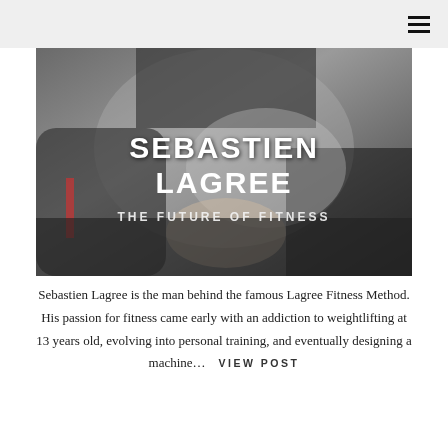☰
[Figure (photo): A man in a black t-shirt sitting on fitness equipment with hands clasped, overlaid with large white bold text reading SEBASTIEN LAGREE / THE FUTURE OF FITNESS]
Sebastien Lagree is the man behind the famous Lagree Fitness Method. His passion for fitness came early with an addiction to weightlifting at 13 years old, evolving into personal training, and eventually designing a machine… VIEW POST